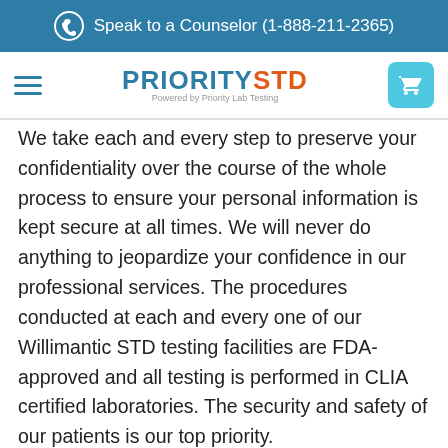Speak to a Counselor (1-888-211-2365)
[Figure (logo): PrioritySTD logo - PRIORITY in blue, STD in orange, Powered by Priority Lab Testing subtitle]
We take each and every step to preserve your confidentiality over the course of the whole process to ensure your personal information is kept secure at all times. We will never do anything to jeopardize your confidence in our professional services. The procedures conducted at each and every one of our Willimantic STD testing facilities are FDA-approved and all testing is performed in CLIA certified laboratories. The security and safety of our patients is our top priority.
Medically reviewed by Amy Cyr, MD
[Figure (logo): TrustedSite logo with green checkmark]